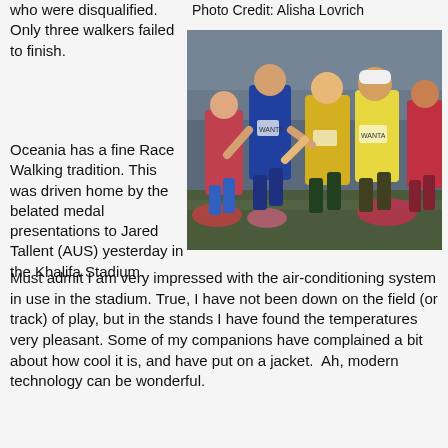who were disqualified. Only three walkers failed to finish.
Photo Credit: Alisha Lovrich
[Figure (photo): Group of female race walkers competing in a stadium, wearing colorful athletic uniforms.]
Oceania has a fine Race Walking tradition. This was driven home by the belated medal presentations to Jared Tallent (AUS) yesterday in the Khalifa Stadium.
Must admit I am very impressed with the air-conditioning system in use in the stadium. True, I have not been down on the field (or track) of play, but in the stands I have found the temperatures very pleasant. Some of my companions have complained a bit about how cool it is, and have put on a jacket.  Ah, modern technology can be wonderful.